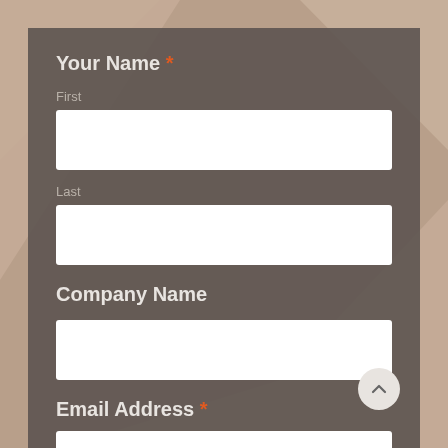[Figure (screenshot): Web contact form with dark semi-transparent panel over a blurred architectural background. Contains form fields for Your Name (First, Last), Company Name, and Email Address with required field markers.]
Your Name *
First
Last
Company Name
Email Address *